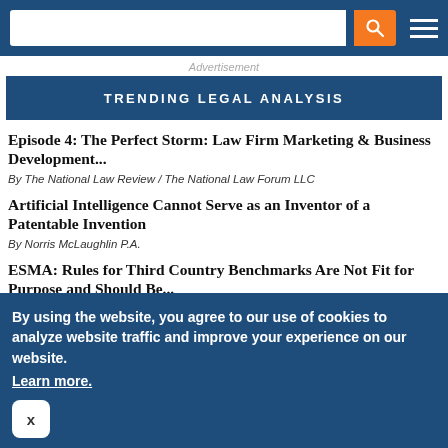Navigation bar with search input, search button, and menu button
Advertisement
TRENDING LEGAL ANALYSIS
Episode 4: The Perfect Storm: Law Firm Marketing & Business Development...
By The National Law Review / The National Law Forum LLC
Artificial Intelligence Cannot Serve as an Inventor of a Patentable Invention
By Norris McLaughlin P.A.
ESMA: Rules for Third Country Benchmarks Are Not Fit for Purpose and Should Be...
By Cadwalader, Wickersham & Taft LLP
EPA Proposes to Stop Authorized Use of Certain PFAS
By using the website, you agree to our use of cookies to analyze website traffic and improve your experience on our website. Learn more.